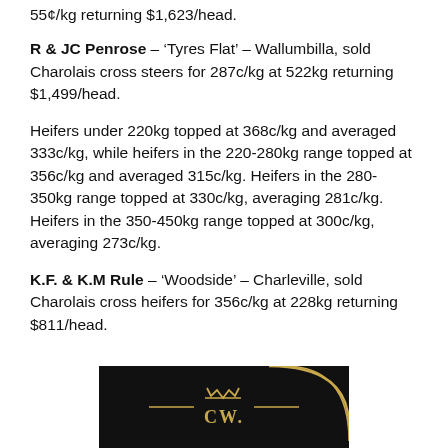55¢/kg returning $1,623/head.
R & JC Penrose – 'Tyres Flat' – Wallumbilla, sold Charolais cross steers for 287c/kg at 522kg returning $1,499/head.
Heifers under 220kg topped at 368c/kg and averaged 333c/kg, while heifers in the 220-280kg range topped at 356c/kg and averaged 315c/kg. Heifers in the 280-350kg range topped at 330c/kg, averaging 281c/kg. Heifers in the 350-450kg range topped at 300c/kg, averaging 273c/kg.
K.F. & K.M Rule – 'Woodside' – Charleville, sold Charolais cross heifers for 356c/kg at 228kg returning $811/head.
[Figure (logo): Black background logo with gold 'CW.' text and decorative arc lines]